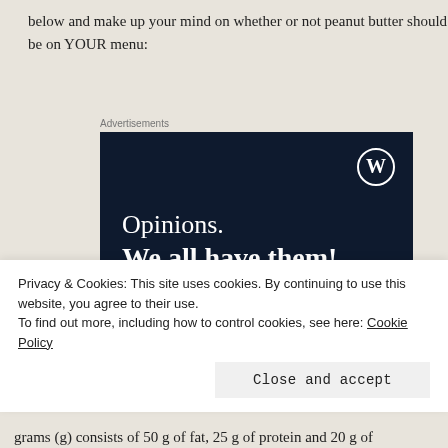below and make up your mind on whether or not peanut butter should be on YOUR menu:
[Figure (illustration): WordPress/CrowdSignal advertisement with dark navy background. Shows text 'Opinions. We all have them!' with a WordPress logo in top right, a pink 'Start a survey' button, and a CrowdSignal circular logo in bottom right.]
Privacy & Cookies: This site uses cookies. By continuing to use this website, you agree to their use.
To find out more, including how to control cookies, see here: Cookie Policy
Close and accept
grams (g) consists of 50 g of fat, 25 g of protein and 20 g of